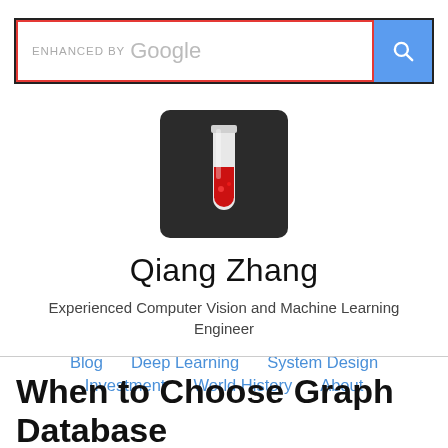[Figure (screenshot): Google enhanced search bar with red border outline and blue search button with magnifying glass icon]
[Figure (logo): Dark rounded square icon with a red test tube / beaker illustration — profile avatar for Qiang Zhang]
Qiang Zhang
Experienced Computer Vision and Machine Learning Engineer
Blog   Deep Learning   System Design   Investment   World History   About
When to Choose Graph Database